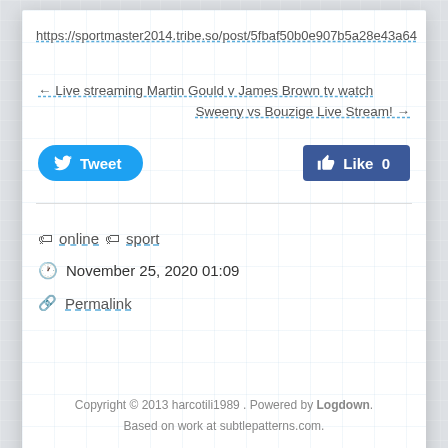https://sportmaster2014.tribe.so/post/5fbaf50b0e907b5a28e43a64
← Live streaming Martin Gould v James Brown tv watch
Sweeny vs Bouzige Live Stream! →
[Figure (other): Tweet button and Like 0 Facebook button]
online
sport
November 25, 2020 01:09
Permalink
Copyright © 2013 harcotili1989 . Powered by Logdown. Based on work at subtlepatterns.com.